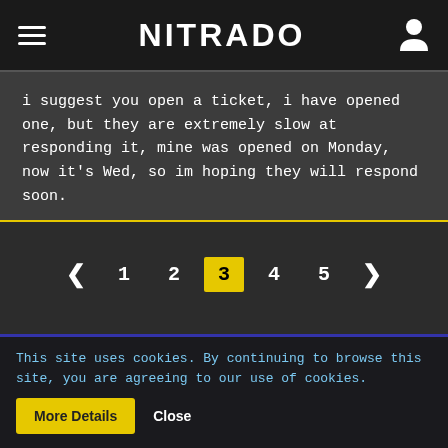NITRADO
i suggest you open a ticket, i have opened one, but they are extremely slow at responding it, mine was opened on Monday, now it's Wed, so im hoping they will respond soon.
Pagination: < 1 2 3 4 5 >
Share
This site uses cookies. By continuing to browse this site, you are agreeing to our use of cookies.